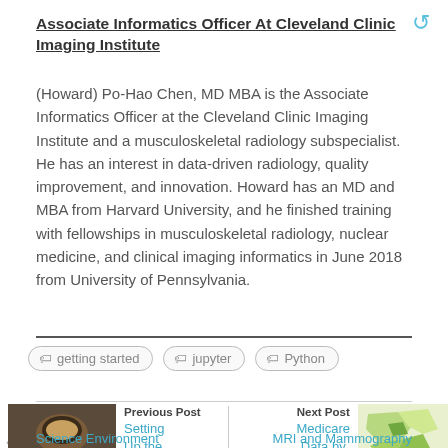Associate Informatics Officer At Cleveland Clinic Imaging Institute
(Howard) Po-Hao Chen, MD MBA is the Associate Informatics Officer at the Cleveland Clinic Imaging Institute and a musculoskeletal radiology subspecialist. He has an interest in data-driven radiology, quality improvement, and innovation. Howard has an MD and MBA from Harvard University, and he finished training with fellowships in musculoskeletal radiology, nuclear medicine, and clinical imaging informatics in June 2018 from University of Pennsylvania.
getting started
jupyter
Python
Previous Post
Setting Up the Python Data Science Environment
Next Post
Medicare Data by State – Lumbar MRI and Mammography